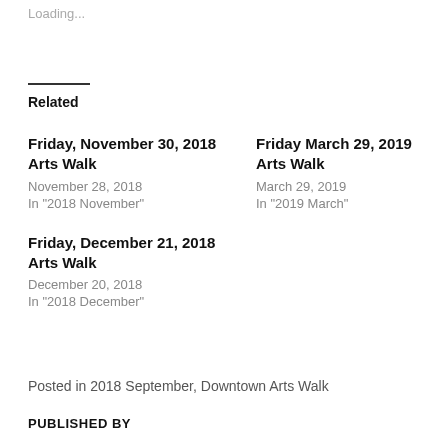Loading...
Related
Friday, November 30, 2018 Arts Walk
November 28, 2018
In "2018 November"
Friday March 29, 2019 Arts Walk
March 29, 2019
In "2019 March"
Friday, December 21, 2018 Arts Walk
December 20, 2018
In "2018 December"
Posted in 2018 September, Downtown Arts Walk
PUBLISHED BY